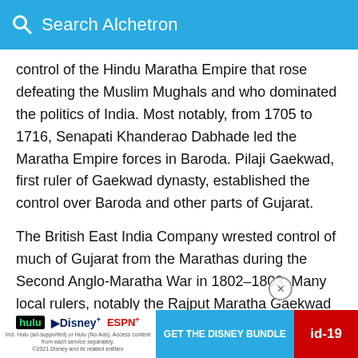Search Alchetron
control of the Hindu Maratha Empire that rose defeating the Muslim Mughals and who dominated the politics of India. Most notably, from 1705 to 1716, Senapati Khanderao Dabhade led the Maratha Empire forces in Baroda. Pilaji Gaekwad, first ruler of Gaekwad dynasty, established the control over Baroda and other parts of Gujarat.
The British East India Company wrested control of much of Gujarat from the Marathas during the Second Anglo-Maratha War in 1802–1803. Many local rulers, notably the Rajput Maratha Gaekwad Maharajas of Baroda (Vadodara), made a separate peace
[Figure (screenshot): Advertisement banner: Hulu Disney+ ESPN+ GET THE DISNEY BUNDLE with fine print text. A red covid-19 tag is visible on the right. An X close button is shown on the ad.]